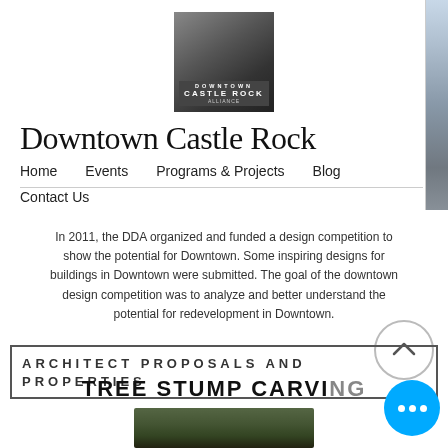[Figure (logo): Downtown Castle Rock Alliance logo — black and white photo of buildings with text]
Downtown Castle Rock
Home   Events   Programs & Projects   Blog   Contact Us
In 2011, the DDA organized and funded a design competition to show the potential for Downtown. Some inspiring designs for buildings in Downtown were submitted. The goal of the downtown design competition was to analyze and better understand the potential for redevelopment in Downtown.
ARCHITECT PROPOSALS AND PROPERTIES
TREE STUMP CARVING
[Figure (photo): Photo of tree stump carving, partially visible at bottom of page]